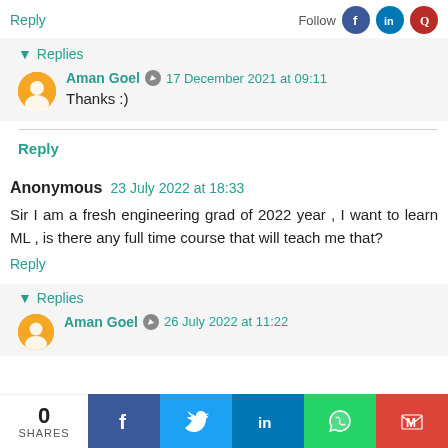Reply
Follow
▾ Replies
Aman Goel  17 December 2021 at 09:11
Thanks :)
Reply
Anonymous  23 July 2022 at 18:33
Sir I am a fresh engineering grad of 2022 year , I want to learn ML , is there any full time course that will teach me that?
Reply
▾ Replies
Aman Goel  26 July 2022 at 11:22
0 SHARES